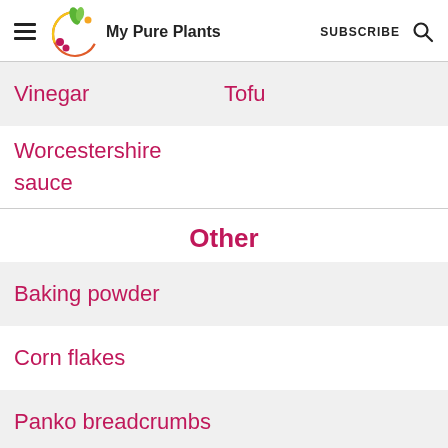My Pure Plants — SUBSCRIBE
Vinegar   Tofu
Worcestershire sauce
Other
Baking powder
Corn flakes
Panko breadcrumbs
Popcorn
Yeast (all 6 types)